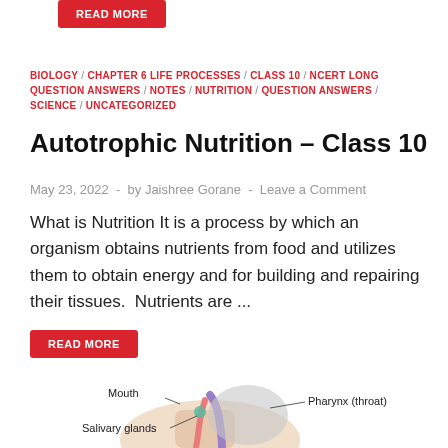[Figure (other): Red READ MORE button at top of page]
BIOLOGY / CHAPTER 6 LIFE PROCESSES / CLASS 10 / NCERT LONG QUESTION ANSWERS / NOTES / NUTRITION / QUESTION ANSWERS / SCIENCE / UNCATEGORIZED
Autotrophic Nutrition – Class 10
May 23, 2022  -  by Jaishree Gorane  -  Leave a Comment
What is Nutrition It is a process by which an organism obtains nutrients from food and utilizes them to obtain energy and for building and repairing their tissues.  Nutrients are ...
[Figure (other): Red READ MORE button]
[Figure (illustration): Anatomical diagram of human head and neck showing Mouth, Pharynx (throat), and Salivary glands with label lines]